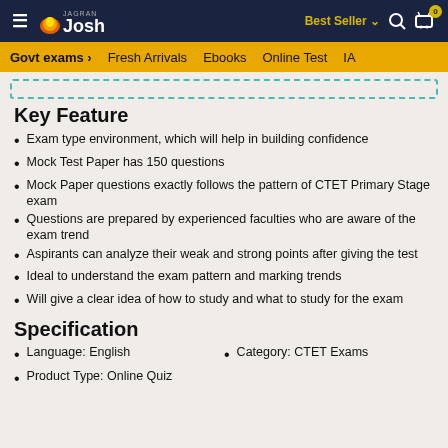Jagran Josh — Best Seller | Search | Cart
Govt exams | Fresh Arrivals | Ebooks | Online Test | IA
Key Feature
Exam type environment, which will help in building confidence
Mock Test Paper has 150 questions
Mock Paper questions exactly follows the pattern of CTET Primary Stage exam
Questions are prepared by experienced faculties who are aware of the exam trend
Aspirants can analyze their weak and strong points after giving the test
Ideal to understand the exam pattern and marking trends
Will give a clear idea of how to study and what to study for the exam
Specification
Language: English
Category: CTET Exams
Product Type: Online Quiz